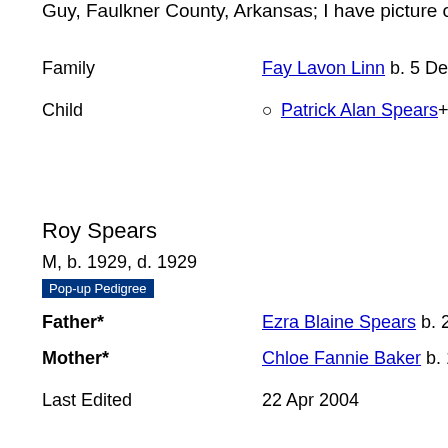Guy, Faulkner County, Arkansas; I have picture of marker wit
Family   Fay Lavon Linn b. 5 Dec 1929, d. 18 Feb
Child   Patrick Alan Spears+ b. 6 Mar 1964
Roy Spears
M, b. 1929, d. 1929
Pop-up Pedigree
Father*   Ezra Blaine Spears b. 20 Sep 1899, d. 6 J
Mother*   Chloe Fannie Baker b. 1902, d. 4 Sep 194
Last Edited   22 Apr 2004
Roy Spears was born in 1929 at Arkansas. He died in 192
Coy Spears
M, b. 1929, d. 1929
Pop-up Pedigree
Father*   Ezra Blaine Spears b. 20 Sep 1899, d. 6
Mother*   Chloe Fannie Baker b. 1902, d. 4 Sep 194